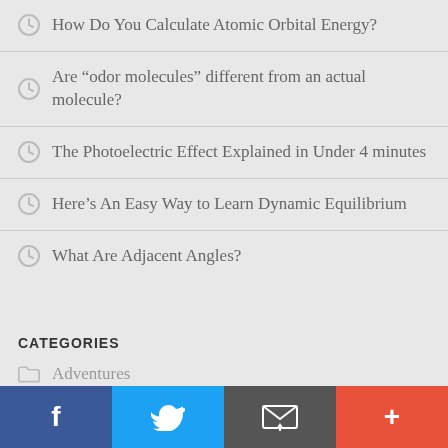How Do You Calculate Atomic Orbital Energy?
Are “odor molecules” different from an actual molecule?
The Photoelectric Effect Explained in Under 4 minutes
Here’s An Easy Way to Learn Dynamic Equilibrium
What Are Adjacent Angles?
CATEGORIES
Adventures
Career